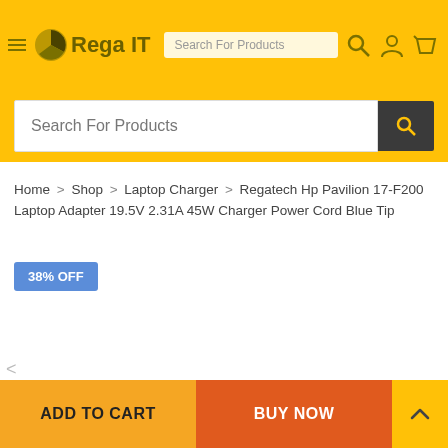Search For Products | Rega IT
Search For Products
Home > Shop > Laptop Charger > Regatech Hp Pavilion 17-F200 Laptop Adapter 19.5V 2.31A 45W Charger Power Cord Blue Tip
38% OFF
ADD TO CART
BUY NOW